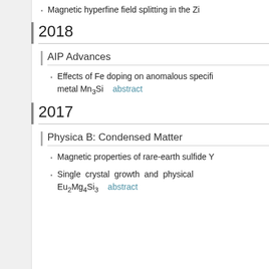Magnetic hyperfine field splitting in the Zn...
2018
AIP Advances
Effects of Fe doping on anomalous specific heat of itinerant metal Mn3Si  abstract
2017
Physica B: Condensed Matter
Magnetic properties of rare-earth sulfide Y...
Single crystal growth and physical properties of Eu2Mg4Si3  abstract